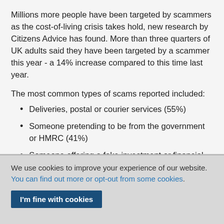Millions more people have been targeted by scammers as the cost-of-living crisis takes hold, new research by Citizens Advice has found. More than three quarters of UK adults said they have been targeted by a scammer this year - a 14% increase compared to this time last year.
The most common types of scams reported included:
Deliveries, postal or courier services (55%)
Someone pretending to be from the government or HMRC (41%)
Someone offering a fake investment or financial
We use cookies to improve your experience of our website. You can find out more or opt-out from some cookies.